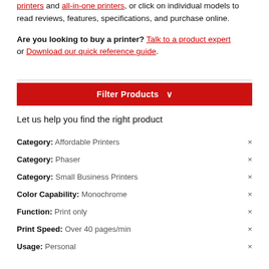printers and all-in-one printers, or click on individual models to read reviews, features, specifications, and purchase online.
Are you looking to buy a printer? Talk to a product expert or Download our quick reference guide.
Filter Products ∨
Let us help you find the right product
Category: Affordable Printers ×
Category: Phaser ×
Category: Small Business Printers ×
Color Capability: Monochrome ×
Function: Print only ×
Print Speed: Over 40 pages/min ×
Usage: Personal ×